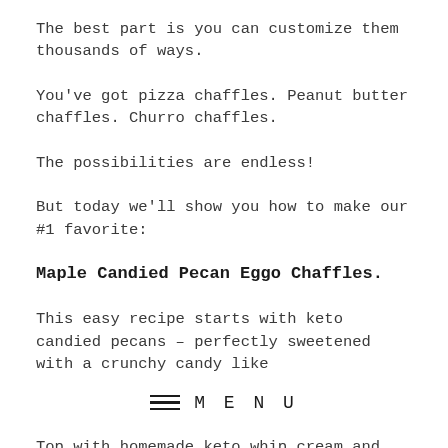The best part is you can customize them thousands of ways.
You've got pizza chaffles. Peanut butter chaffles. Churro chaffles.
The possibilities are endless!
But today we'll show you how to make our #1 favorite:
Maple Candied Pecan Eggo Chaffles.
This easy recipe starts with keto candied pecans – perfectly sweetened with a crunchy candy like
MENU
Top with homemade keto whip cream and sugar-